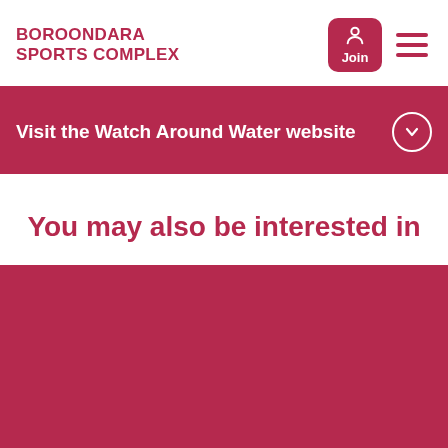BOROONDARA SPORTS COMPLEX
Visit the Watch Around Water website
You may also be interested in